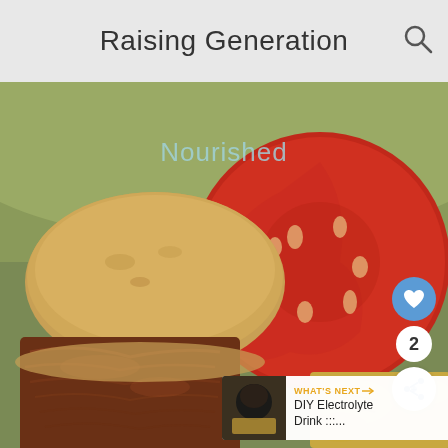Raising Generation
[Figure (photo): A sloppy joe / pulled pork sandwich on a whole grain bun served with a large sliced tomato, lettuce, and potato chips. Watermark text 'Nourished' overlaid on the image.]
Nourished
2
WHAT'S NEXT → DIY Electrolyte Drink :::....